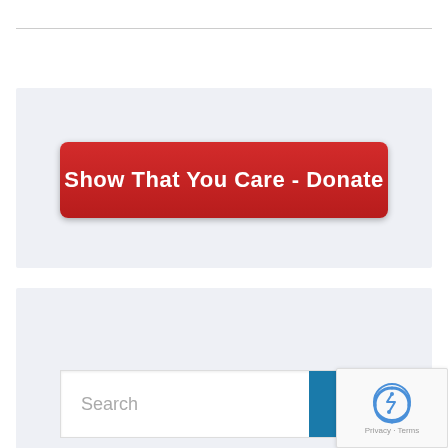[Figure (screenshot): Red donate button with text 'Show That You Care - Donate' on a light grey background panel]
[Figure (screenshot): Search bar with placeholder text 'Search' and a teal search button with magnifying glass icon, on a light grey background panel]
[Figure (other): reCAPTCHA badge showing Google reCAPTCHA logo with 'Privacy - Terms' text]